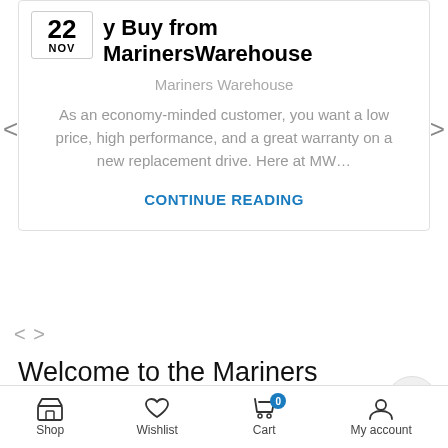Why Buy from MarinersWarehouse
Mariners Warehouse
As an economy-minded customer, you want a low price, high performance, and a great warranty on a new replacement drive. Here at MW…
CONTINUE READING
Welcome to the Mariners Warehouse, the worlds leader in marine parts distribution. We carry outboard lower unit replacements for Yamaha,
Shop  Wishlist  Cart  My account